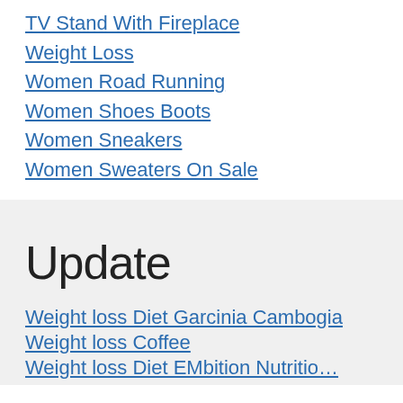TV Stand With Fireplace
Weight Loss
Women Road Running
Women Shoes Boots
Women Sneakers
Women Sweaters On Sale
Update
Weight loss Diet Garcinia Cambogia
Weight loss Coffee
Weight loss Diet EMbition Nutritio…